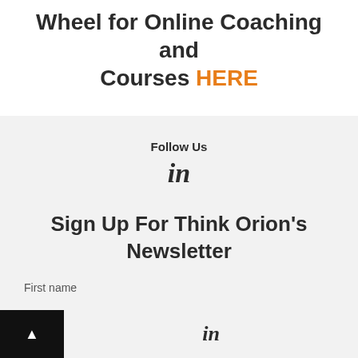Wheel for Online Coaching and Courses HERE
Follow Us
[Figure (logo): LinkedIn 'in' logo icon]
Sign Up For Think Orion's Newsletter
First name
[Figure (logo): LinkedIn 'in' logo icon in footer bar]